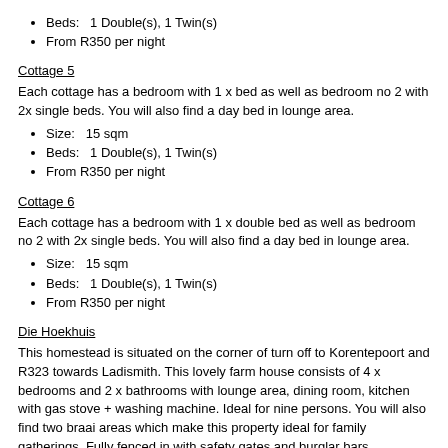Beds:   1 Double(s), 1 Twin(s)
From R350 per night
Cottage 5
Each cottage has a bedroom with 1 x bed as well as bedroom no 2 with 2x single beds. You will also find a day bed in lounge area.
Size:    15 sqm
Beds:   1 Double(s), 1 Twin(s)
From R350 per night
Cottage 6
Each cottage has a bedroom with 1 x double bed as well as bedroom no 2 with 2x single beds. You will also find a day bed in lounge area.
Size:    15 sqm
Beds:   1 Double(s), 1 Twin(s)
From R350 per night
Die Hoekhuis
This homestead is situated on the corner of turn off to Korentepoort and R323 towards Ladismith. This lovely farm house consists of 4 x bedrooms and 2 x bathrooms with lounge area, dining room, kitchen with gas stove + washing machine. Ideal for nine persons. You will also find two braai areas which make this property ideal for family gatherings. Fully fenced in with safety gates and burglar bars.